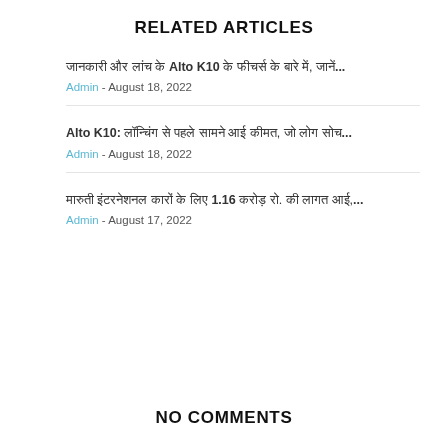RELATED ARTICLES
जानकारी और लांच के Alto K10 के फीचर्स के बारे में, जानें...
Admin - August 18, 2022
Alto K10: लॉन्चिंग से पहले सामने आई कीमत, जो लोग सोच...
Admin - August 18, 2022
मारुती इंटरनेशनल कारों के लिए 1.16 करोड़ रो. की लागत आई,...
Admin - August 17, 2022
NO COMMENTS